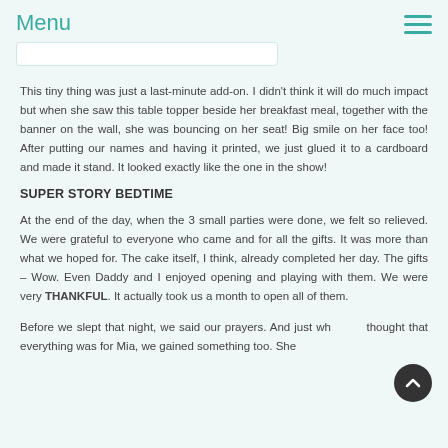Menu
This tiny thing was just a last-minute add-on. I didn't think it will do much impact but when she saw this table topper beside her breakfast meal, together with the banner on the wall, she was bouncing on her seat! Big smile on her face too! After putting our names and having it printed, we just glued it to a cardboard and made it stand. It looked exactly like the one in the show!
SUPER STORY BEDTIME
At the end of the day, when the 3 small parties were done, we felt so relieved. We were grateful to everyone who came and for all the gifts. It was more than what we hoped for. The cake itself, I think, already completed her day. The gifts – Wow. Even Daddy and I enjoyed opening and playing with them. We were very THANKFUL. It actually took us a month to open all of them.
Before we slept that night, we said our prayers. And just when we thought that everything was for Mia, we gained something too. She